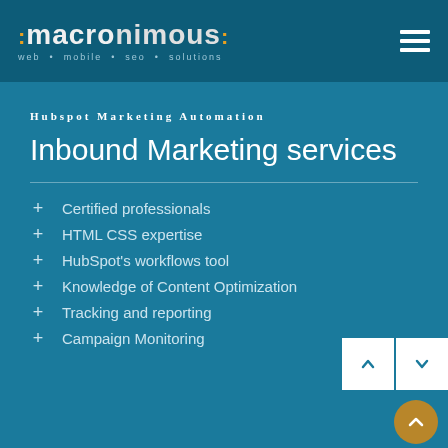macronimous: web · mobile · seo · solutions
Hubspot Marketing Automation
Inbound Marketing services
+ Certified professionals
+ HTML CSS expertise
+ HubSpot's workflows tool
+ Knowledge of Content Optimization
+ Tracking and reporting
+ Campaign Monitoring